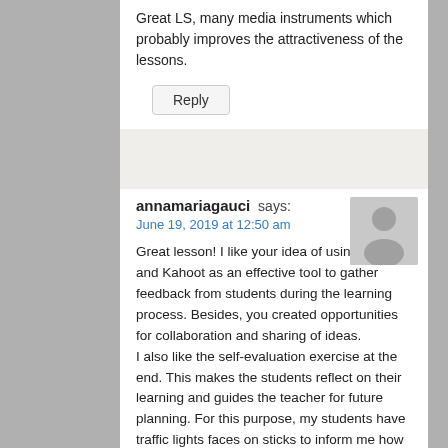Great LS, many media instruments which probably improves the attractiveness of the lessons.
Reply
annamariagauci says:
June 19, 2019 at 12:50 am
Great lesson! I like your idea of using Padlet and Kahoot as an effective tool to gather feedback from students during the learning process. Besides, you created opportunities for collaboration and sharing of ideas.
I also like the self-evaluation exercise at the end. This makes the students reflect on their learning and guides the teacher for future planning. For this purpose, my students have traffic lights faces on sticks to inform me how they feel about the activity
[Figure (illustration): Accessibility icon (wheelchair symbol) in white on teal background, top-right corner]